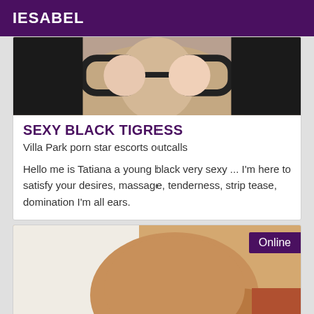IESABEL
[Figure (photo): Partial view of a person wearing black-framed glasses, top portion cropped]
SEXY BLACK TIGRESS
Villa Park porn star escorts outcalls
Hello me is Tatiana a young black very sexy ... I'm here to satisfy your desires, massage, tenderness, strip tease, domination I'm all ears.
[Figure (photo): Partial view of a person in black lingerie, with an 'Online' badge overlay in the top right corner]